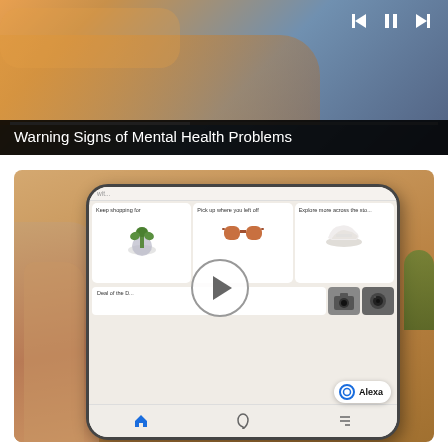[Figure (screenshot): Video thumbnail showing a person on a couch with video playback controls (skip back, pause, skip forward) and a progress bar. Title overlay reads 'Warning Signs of Mental Health Problems'.]
[Figure (screenshot): Screenshot of the Amazon app displayed on a smartphone being held by a hand. The app shows shopping sections: 'Keep shopping for' (plant), 'Pick up where you left off' (sunglasses), 'Explore more across the store' (sneaker), and 'Deal of the Day'. An Alexa badge and play button overlay are visible.]
Search, shop, get answers and more- all with Alexa on the Amazon app